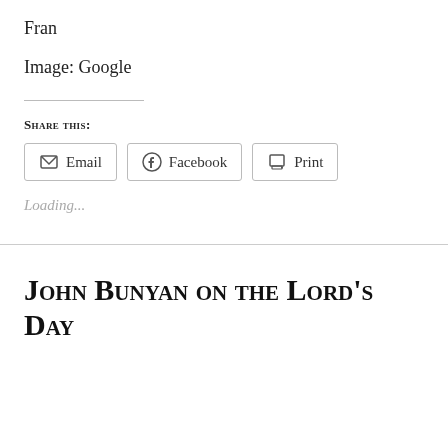Fran
Image: Google
Share this:
Email   Facebook   Print
Loading...
John Bunyan on the Lord's Day